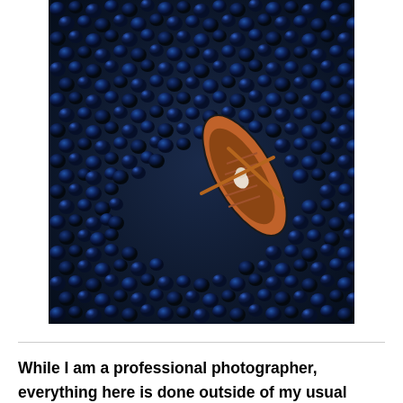[Figure (photo): Aerial/overhead view of a wooden rowboat with a person rowing through a sea of dark blueberries. The boat is orange-brown with wooden oars extended, and the person is wearing light-colored clothing. The background is entirely covered in dark blue blueberries creating a striking visual effect.]
While I am a professional photographer, everything here is done outside of my usual work. All images and